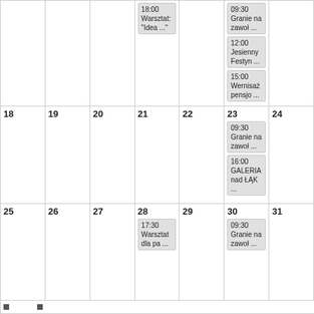|  |  |  |  |  |  |  |
| --- | --- | --- | --- | --- | --- | --- |
|  |  |  | 18:00 Warsztat: "Idea ..." |  | 09:30 Granie na zawoł ...
12:00 Jesienny Festyn ...
15:00 Wernisaż pensjo ... |  |
| 18 | 19 | 20 | 21 | 22 | 23
09:30 Granie na zawoł ...
16:00 GALERIA nad ŁĄK ... | 24 |
| 25 | 26 | 27 | 28
17:30 Warsztat dla pa ... | 29 | 30
09:30 Granie na zawoł ... | 31 |